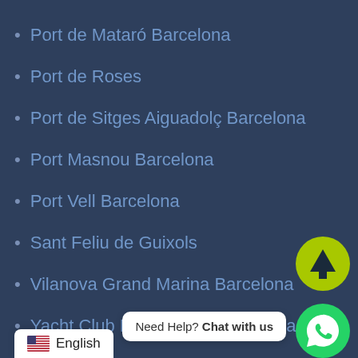Port de Mataró Barcelona
Port de Roses
Port de Sitges Aiguadolç Barcelona
Port Masnou Barcelona
Port Vell Barcelona
Sant Feliu de Guixols
Vilanova Grand Marina Barcelona
Yacht Club Nautic d'Arenys de Mar
Valencia
Alicante
Denia
Javea
[Figure (other): Yellow circular scroll-to-top button with upward arrow]
[Figure (other): Green WhatsApp chat button]
Need Help? Chat with us
English